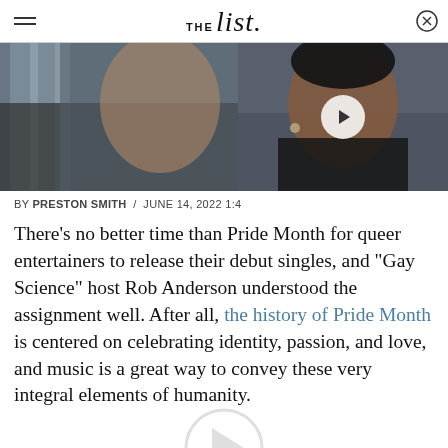THE list
[Figure (photo): Left side: close-up photo of a person's neck/collar area in dark clothing with building glass in background. Right side: portrait photo of a woman with short dark hair looking at camera, crowd in background, with a video play button overlay.]
BY PRESTON SMITH / JUNE 14, 2022 1:4
There's no better time than Pride Month for queer entertainers to release their debut singles, and "Gay Science" host Rob Anderson understood the assignment well. After all, the history of Pride Month is centered on celebrating identity, passion, and love, and music is a great way to convey these very integral elements of humanity.